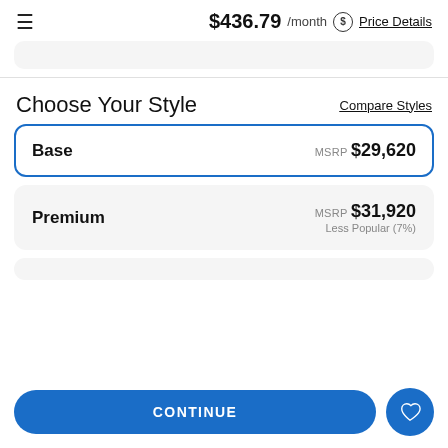≡  $436.79 /month $ Price Details
Choose Your Style
Compare Styles
Base  MSRP $29,620
Premium  MSRP $31,920  Less Popular (7%)
CONTINUE